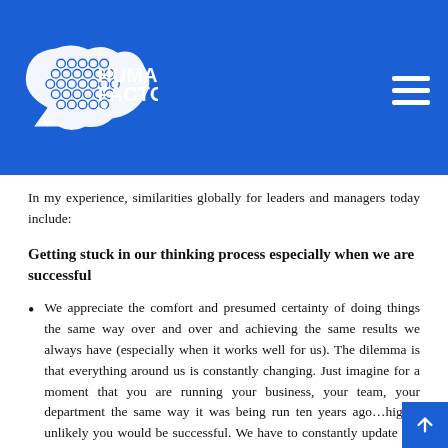the HUMAN FACTOR inc.
In my experience, similarities globally for leaders and managers today include:
Getting stuck in our thinking process especially when we are successful
We appreciate the comfort and presumed certainty of doing things the same way over and over and achieving the same results we always have (especially when it works well for us). The dilemma is that everything around us is constantly changing. Just imagine for a moment that you are running your business, your team, your department the same way it was being run ten years ago…highly unlikely you would be successful. We have to constantly update our mental models (our beliefs, biases, and “thought bubbles”) about almost everyone and everything to be